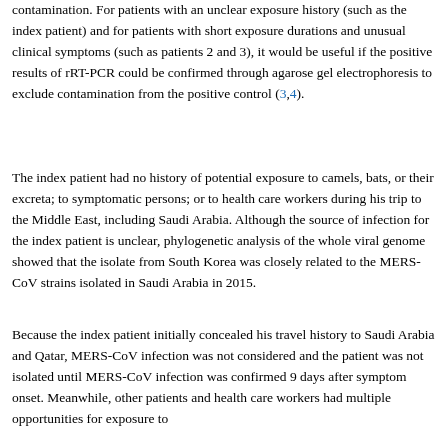contamination. For patients with an unclear exposure history (such as the index patient) and for patients with short exposure durations and unusual clinical symptoms (such as patients 2 and 3), it would be useful if the positive results of rRT-PCR could be confirmed through agarose gel electrophoresis to exclude contamination from the positive control (3,4).
The index patient had no history of potential exposure to camels, bats, or their excreta; to symptomatic persons; or to health care workers during his trip to the Middle East, including Saudi Arabia. Although the source of infection for the index patient is unclear, phylogenetic analysis of the whole viral genome showed that the isolate from South Korea was closely related to the MERS-CoV strains isolated in Saudi Arabia in 2015.
Because the index patient initially concealed his travel history to Saudi Arabia and Qatar, MERS-CoV infection was not considered and the patient was not isolated until MERS-CoV infection was confirmed 9 days after symptom onset. Meanwhile, other patients and health care workers had multiple opportunities for exposure to